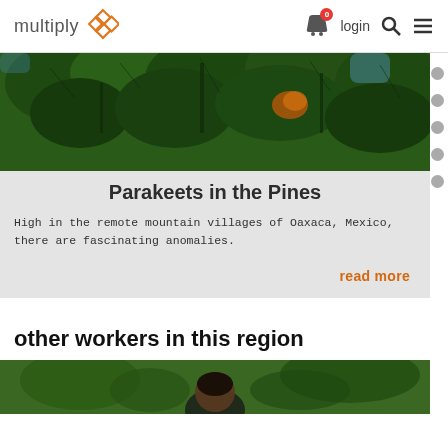multiply | login
[Figure (photo): Pine/conifer tree branches with dense green foliage, outdoor nature photo]
Parakeets in the Pines
High in the remote mountain villages of Oaxaca, Mexico, there are fascinating anomalies.
read more
other workers in this region
[Figure (photo): Person standing outdoors among trees, partially visible at bottom of page]